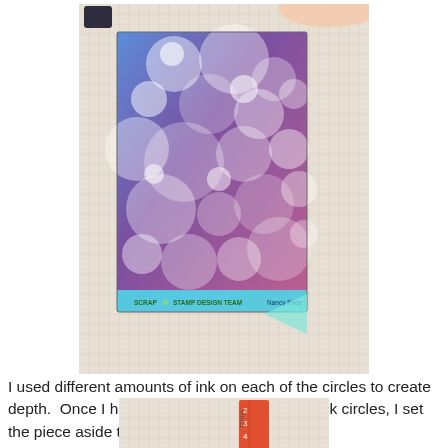[Figure (photo): A photograph of a card/paper with a blue-to-purple gradient background covered in stamped white ink circles of varying sizes and opacities, placed on a gridded cutting mat. A cyan banner at the bottom reads 'SCRAP N STAMP DESIGN TEAM' and 'Nancy Ence'.]
I used different amounts of ink on each of the circles to create depth.  Once I had a good coverage of white ink circles, I set the piece aside to dry over night.
[Figure (photo): A partial photograph showing a gridded cutting mat with a red/orange ruler visible, showing numbers 2, 3, 4.]